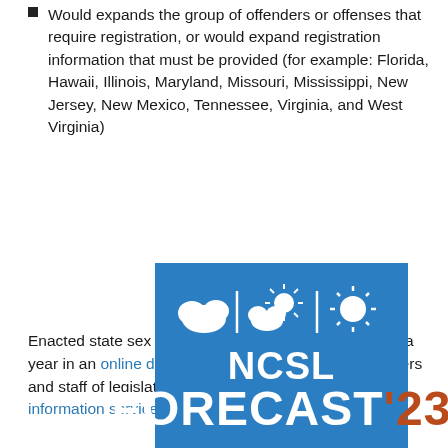Would expands the group of offenders or offenses that require registration, or would expand registration information that must be provided (for example: Florida, Hawaii, Illinois, Maryland, Missouri, Mississippi, New Jersey, New Mexico, Tennessee, Virginia, and West Virginia)
Enacted state sex offender legislation is updated twice a year in an online database on NCSL's website. Members and staff of legislatures have access to an NCSL bill information service.
[Figure (logo): NCSL Forecast '23 banner with blue background, weather icons (clouds and sun), large white text 'NCSL FORECAST' and '23 in brown/rust color]